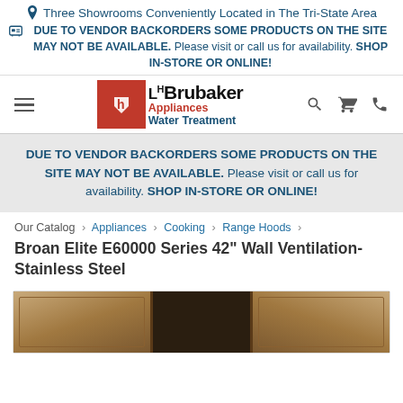📍 Three Showrooms Conveniently Located in The Tri-State Area
🖨 DUE TO VENDOR BACKORDERS SOME PRODUCTS ON THE SITE MAY NOT BE AVAILABLE. Please visit or call us for availability. SHOP IN-STORE OR ONLINE!
[Figure (logo): LH Brubaker Appliances Water Treatment logo with red square icon]
DUE TO VENDOR BACKORDERS SOME PRODUCTS ON THE SITE MAY NOT BE AVAILABLE. Please visit or call us for availability. SHOP IN-STORE OR ONLINE!
Our Catalog › Appliances › Cooking › Range Hoods ›
Broan Elite E60000 Series 42" Wall Ventilation-Stainless Steel
[Figure (photo): Partial photo of kitchen cabinets in wood finish surrounding a range hood installation space]